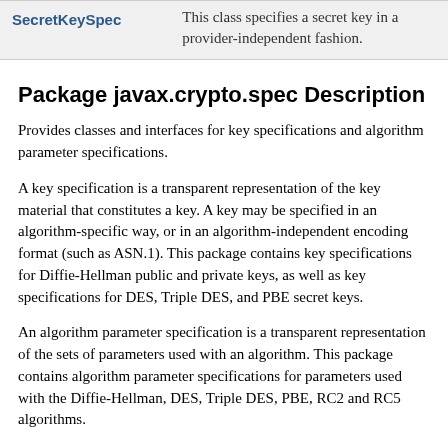| Class | Description |
| --- | --- |
| SecretKeySpec | This class specifies a secret key in a provider-independent fashion. |
Package javax.crypto.spec Description
Provides classes and interfaces for key specifications and algorithm parameter specifications.
A key specification is a transparent representation of the key material that constitutes a key. A key may be specified in an algorithm-specific way, or in an algorithm-independent encoding format (such as ASN.1). This package contains key specifications for Diffie-Hellman public and private keys, as well as key specifications for DES, Triple DES, and PBE secret keys.
An algorithm parameter specification is a transparent representation of the sets of parameters used with an algorithm. This package contains algorithm parameter specifications for parameters used with the Diffie-Hellman, DES, Triple DES, PBE, RC2 and RC5 algorithms.
PKCS #3: Diffie-Hellman Key-Agreement